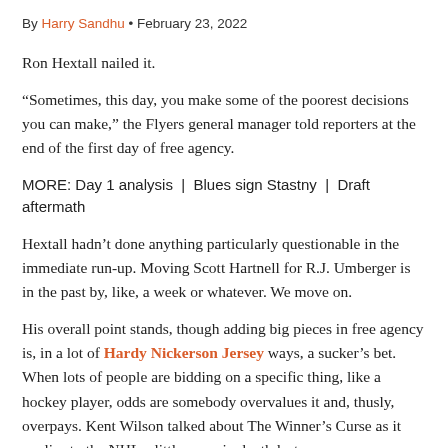By Harry Sandhu • February 23, 2022
Ron Hextall nailed it.
“Sometimes, this day, you make some of the poorest decisions you can make,” the Flyers general manager told reporters at the end of the first day of free agency.
MORE: Day 1 analysis | Blues sign Stastny | Draft aftermath
Hextall hadn’t done anything particularly questionable in the immediate run-up. Moving Scott Hartnell for R.J. Umberger is in the past by, like, a week or whatever. We move on.
His overall point stands, though adding big pieces in free agency is, in a lot of Hardy Nickerson Jersey ways, a sucker’s bet. When lots of people are bidding on a specific thing, like a hockey player, odds are somebody overvalues it and, thusly, overpays. Kent Wilson talked about The Winner’s Curse as it applies to the NHL a little more in depth last year.